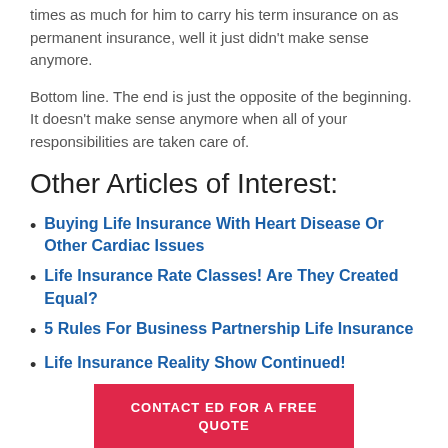times as much for him to carry his term insurance on as permanent insurance, well it just didn't make sense anymore.
Bottom line. The end is just the opposite of the beginning. It doesn't make sense anymore when all of your responsibilities are taken care of.
Other Articles of Interest:
Buying Life Insurance With Heart Disease Or Other Cardiac Issues
Life Insurance Rate Classes! Are They Created Equal?
5 Rules For Business Partnership Life Insurance
Life Insurance Reality Show Continued!
CONTACT ED FOR A FREE QUOTE